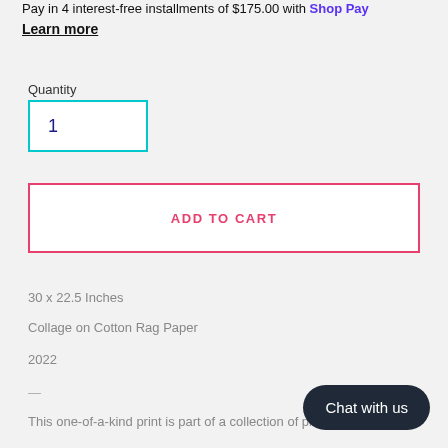Pay in 4 interest-free installments of $175.00 with Shop Pay
Learn more
Quantity
1
ADD TO CART
30 x 22.5 Inches
Collage on Cotton Rag Paper
2022
—
This one-of-a-kind print is part of a collection of pieces that
Chat with us